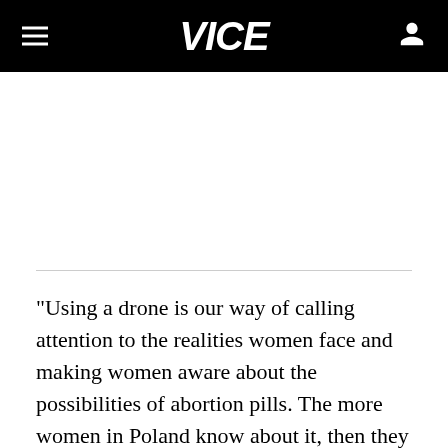VICE
"Using a drone is our way of calling attention to the realities women face and making women aware about the possibilities of abortion pills. The more women in Poland know about it, then they will know to ask for it and maybe demand change in their society," she added.
Poland was the logical first choice for the drone